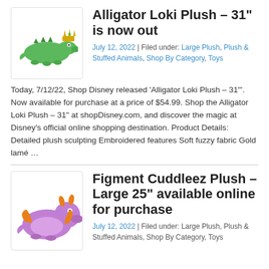[Figure (photo): Green alligator Loki plush toy with Loki crown on its head]
Alligator Loki Plush – 31" is now out
July 12, 2022 | Filed under: Large Plush, Plush & Stuffed Animals, Shop By Category, Toys
Today, 7/12/22, Shop Disney released 'Alligator Loki Plush – 31"'. Now available for purchase at a price of $54.99. Shop the Alligator Loki Plush – 31" at shopDisney.com, and discover the magic at Disney's official online shopping destination. Product Details: Detailed plush sculpting Embroidered features Soft fuzzy fabric Gold lamé …
[Figure (photo): Purple Figment Cuddleez large plush toy lying down]
Figment Cuddleez Plush – Large 25" available online for purchase
July 12, 2022 | Filed under: Large Plush, Plush & Stuffed Animals, Shop By Category, Toys